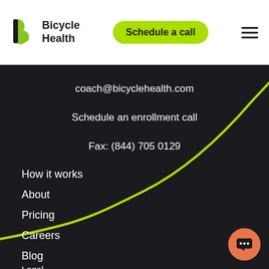Bicycle Health — Schedule a call
coach@bicyclehealth.com
Schedule an enrollment call
Fax: (844) 705 0129
How it works
About
Pricing
Careers
Blog
Legal
[Figure (illustration): Green curved line swooping across dark background, decorative element]